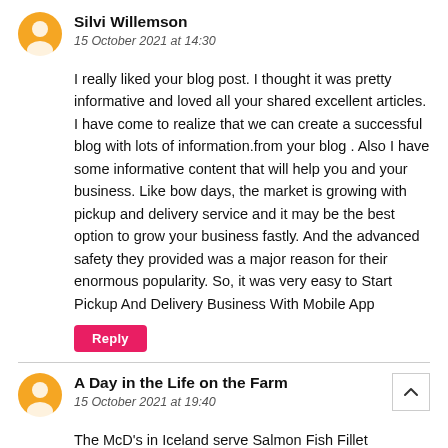Silvi Willemson
15 October 2021 at 14:30
I really liked your blog post. I thought it was pretty informative and loved all your shared excellent articles. I have come to realize that we can create a successful blog with lots of information.from your blog . Also I have some informative content that will help you and your business. Like bow days, the market is growing with pickup and delivery service and it may be the best option to grow your business fastly.  And the advanced safety they provided was a major reason for their enormous popularity. So, it was very easy to Start Pickup And Delivery Business With Mobile App
Reply
A Day in the Life on the Farm
15 October 2021 at 19:40
The McD's in Iceland serve Salmon Fish Fillet sandwiches?!! I'm so jealous – glad to have this recipe